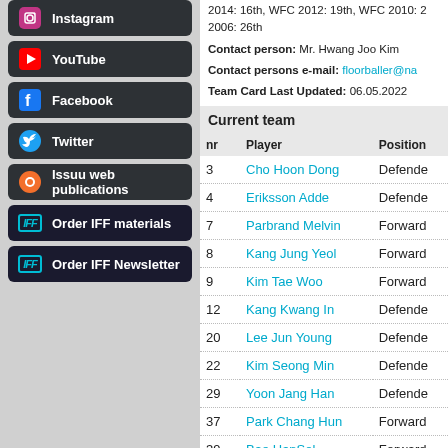YouTube
Facebook
Twitter
Issuu web publications
Order IFF materials
Order IFF Newsletter
2014: 16th, WFC 2012: 19th, WFC 2010: 2... 2006: 26th
Contact person: Mr. Hwang Joo Kim
Contact persons e-mail: floorballer@na...
Team Card Last Updated: 06.05.2022
Current team
| nr | Player | Position |
| --- | --- | --- |
| 3 | Cho Hoon Dong | Defender |
| 4 | Eriksson Adde | Defender |
| 7 | Parbrand Melvin | Forward |
| 8 | Kang Jung Yeol | Forward |
| 9 | Kim Tae Woo | Forward |
| 12 | Kang Kwang In | Defender |
| 20 | Lee Jun Young | Defender |
| 22 | Kim Seong Min | Defender |
| 29 | Yoon Jang Han | Defender |
| 37 | Park Chang Hun | Forward |
| 39 | Bae HanSol | Forward |